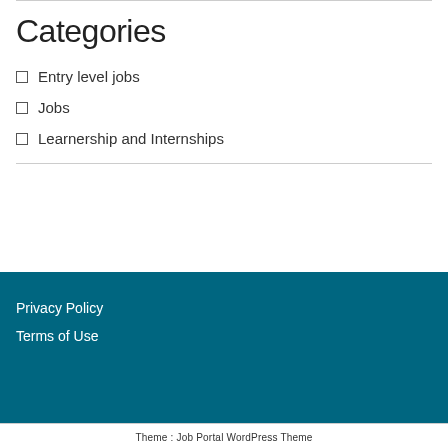Categories
Entry level jobs
Jobs
Learnership and Internships
Privacy Policy
Terms of Use
Theme : Job Portal WordPress Theme